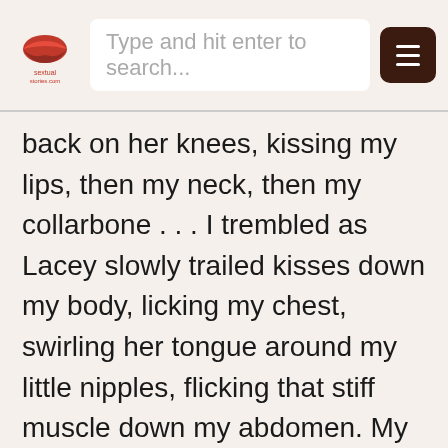Type and hit enter to search...
back on her knees, kissing my lips, then my neck, then my collarbone . . . I trembled as Lacey slowly trailed kisses down my body, licking my chest, swirling her tongue around my little nipples, flicking that stiff muscle down my abdomen. My cock twitched and bobbed as her face moved closer. My sexy cousin flipped her hair back as she got on all fours, arching her back. My God did her tight little...